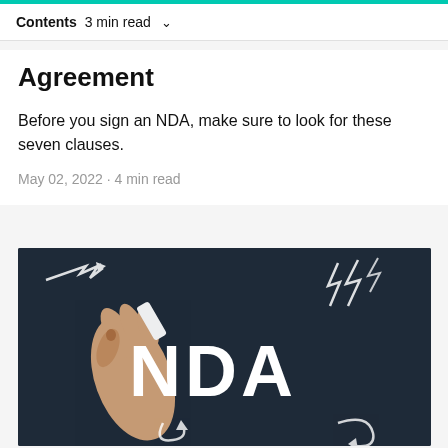Contents  3 min read  ∨
Agreement
Before you sign an NDA, make sure to look for these seven clauses.
May 02, 2022 · 4 min read
[Figure (photo): A hand holding chalk writing on a dark chalkboard with the text 'NDA' in large white bold letters, surrounded by hand-drawn chalk arrows and symbols.]